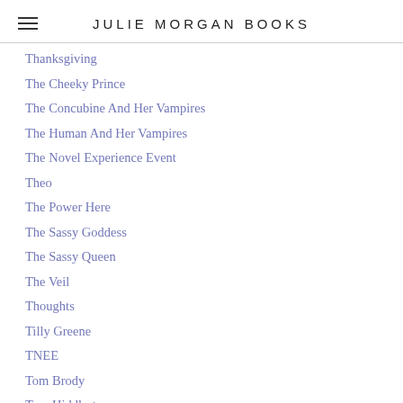JULIE MORGAN BOOKS
Thanksgiving
The Cheeky Prince
The Concubine And Her Vampires
The Human And Her Vampires
The Novel Experience Event
Theo
The Power Here
The Sassy Goddess
The Sassy Queen
The Veil
Thoughts
Tilly Greene
TNEE
Tom Brody
Tom Hiddleston
Toni
T-shirt